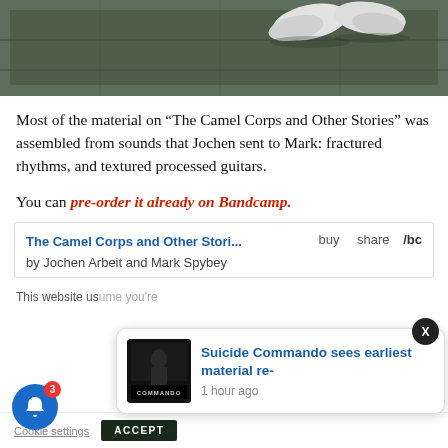[Figure (photo): Top portion of a photo showing feet/shoes (white sneakers) on pavement/grass]
Most of the material on “The Camel Corps and Other Stories” was assembled from sounds that Jochen sent to Mark: fractured rhythms, and textured processed guitars.
You can pre-order it already on Bandcamp.
[Figure (screenshot): Bandcamp embed widget showing 'The Camel Corps and Other Stori...' by Jochen Arbeit and Mark Spybey with buy and share buttons]
This website us...ume you're...
[Figure (screenshot): Push notification popup: 'Suicide Commando sees earliest material re-' with thumbnail and '1 hour ago']